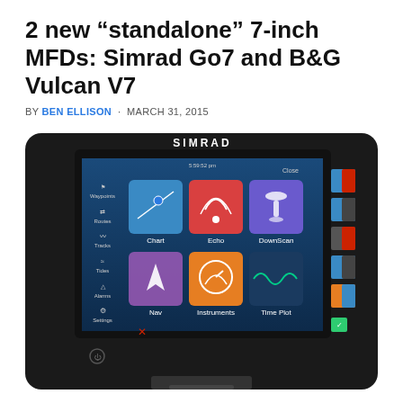2 new “standalone” 7-inch MFDs: Simrad Go7 and B&G Vulcan V7
BY BEN ELLISON · MARCH 31, 2015
[Figure (photo): Photo of Simrad Go7 7-inch MFD device showing the touchscreen interface with options: Chart, Echo, DownScan, Nav, Instruments, Time Plot, along with left sidebar showing Waypoints, Routes, Tracks, Tides, Alarms, Settings]